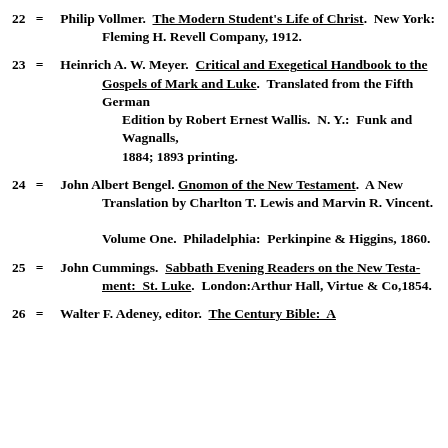22 = Philip Vollmer. The Modern Student's Life of Christ. New York: Fleming H. Revell Company, 1912.
23 = Heinrich A. W. Meyer. Critical and Exegetical Handbook to the Gospels of Mark and Luke. Translated from the Fifth German Edition by Robert Ernest Wallis. N. Y.: Funk and Wagnalls, 1884; 1893 printing.
24 = John Albert Bengel. Gnomon of the New Testament. A New Translation by Charlton T. Lewis and Marvin R. Vincent. Volume One. Philadelphia: Perkinpine & Higgins, 1860.
25 = John Cummings. Sabbath Evening Readers on the New Testament: St. Luke. London:Arthur Hall, Virtue & Co,1854.
26 = Walter F. Adeney, editor. The Century Bible: A